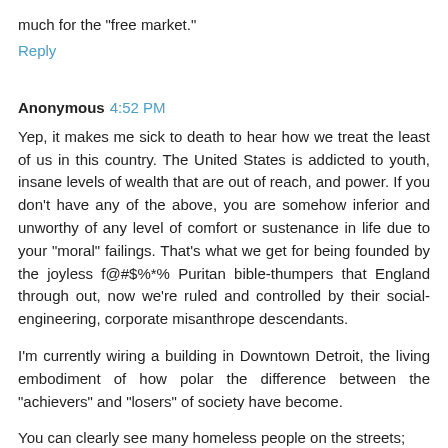much for the "free market."
Reply
Anonymous  4:52 PM
Yep, it makes me sick to death to hear how we treat the least of us in this country. The United States is addicted to youth, insane levels of wealth that are out of reach, and power. If you don't have any of the above, you are somehow inferior and unworthy of any level of comfort or sustenance in life due to your "moral" failings. That's what we get for being founded by the joyless f@#$%*% Puritan bible-thumpers that England through out, now we're ruled and controlled by their social-engineering, corporate misanthrope descendants.
I'm currently wiring a building in Downtown Detroit, the living embodiment of how polar the difference between the "achievers" and "losers" of society have become.
You can clearly see many homeless people on the streets;